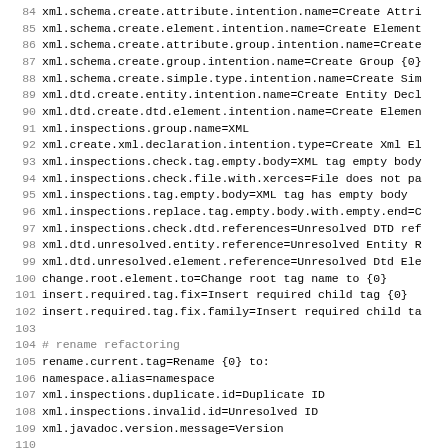Code listing lines 84–115 showing XML property key-value pairs and comments for rename refactoring and external resources sections
84  xml.schema.create.attribute.intention.name=Create Attri
85  xml.schema.create.element.intention.name=Create Element
86  xml.schema.create.attribute.group.intention.name=Create
87  xml.schema.create.group.intention.name=Create Group {0}
88  xml.schema.create.simple.type.intention.name=Create Sim
89  xml.dtd.create.entity.intention.name=Create Entity Decl
90  xml.dtd.create.dtd.element.intention.name=Create Elemen
91  xml.inspections.group.name=XML
92  xml.create.xml.declaration.intention.type=Create Xml El
93  xml.inspections.check.tag.empty.body=XML tag empty body
94  xml.inspections.check.file.with.xerces=File does not pa
95  xml.inspections.tag.empty.body=XML tag has empty body
96  xml.inspections.replace.tag.empty.body.with.empty.end=C
97  xml.inspections.check.dtd.references=Unresolved DTD ref
98  xml.dtd.unresolved.entity.reference=Unresolved Entity R
99  xml.dtd.unresolved.element.reference=Unresolved Dtd Ele
100 change.root.element.to=Change root tag name to {0}
101 insert.required.tag.fix=Insert required child tag {0}
102 insert.required.tag.fix.family=Insert required child ta
103
104 # rename refactoring
105 rename.current.tag=Rename {0} to:
106 namespace.alias=namespace
107 xml.inspections.duplicate.id=Duplicate ID
108 xml.inspections.invalid.id=Unresolved ID
109 xml.javadoc.version.message=Version
110
111 # external resources
112 fetch.external.resource=Fetch external resource
113 manually.setup.external.resource=Manually setup externa
114 add.xsi.schema.location.for.external.resource=Add Xsi s
115 fetching.resource.title=Fetching resource